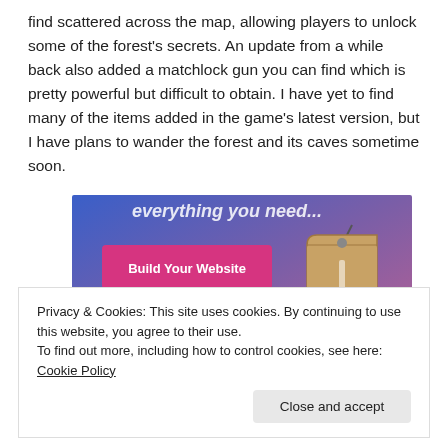find scattered across the map, allowing players to unlock some of the forest's secrets. An update from a while back also added a matchlock gun you can find which is pretty powerful but difficult to obtain. I have yet to find many of the items added in the game's latest version, but I have plans to wander the forest and its caves sometime soon.
[Figure (screenshot): Advertisement banner with blue-purple gradient background, white italic text partially visible at top reading 'everything you need', a pink/magenta 'Build Your Website' button on the left, and a hanging price tag graphic on the right.]
Privacy & Cookies: This site uses cookies. By continuing to use this website, you agree to their use.
To find out more, including how to control cookies, see here: Cookie Policy